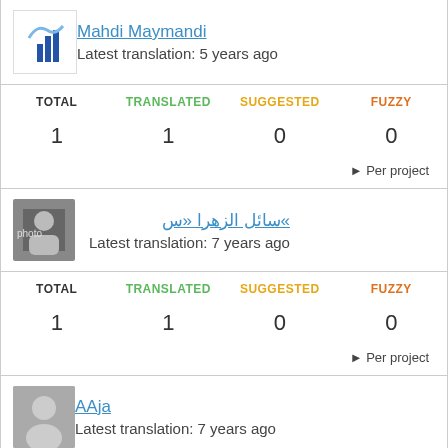Mahdi Maymandi
Latest translation: 5 years ago
| TOTAL | TRANSLATED | SUGGESTED | FUZZY |
| --- | --- | --- | --- |
| 1 | 1 | 0 | 0 |
► Per project
»سائل الزهرا «س
Latest translation: 7 years ago
| TOTAL | TRANSLATED | SUGGESTED | FUZZY |
| --- | --- | --- | --- |
| 1 | 1 | 0 | 0 |
► Per project
AAja
Latest translation: 7 years ago
| TOTAL | TRANSLATED | SUGGESTED | FUZZY |
| --- | --- | --- | --- |
| 1 | 1 | 0 | 0 |